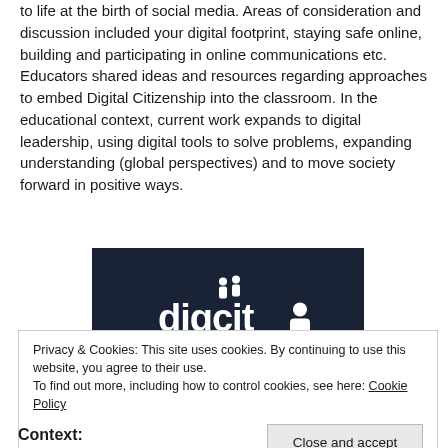to life at the birth of social media. Areas of consideration and discussion included your digital footprint, staying safe online, building and participating in online communications etc. Educators shared ideas and resources regarding approaches to embed Digital Citizenship into the classroom. In the educational context, current work expands to digital leadership, using digital tools to solve problems, expanding understanding (global perspectives) and to move society forward in positive ways.
[Figure (logo): digcit logo — white text 'digcit' with stylized people figures on dark navy background]
Privacy & Cookies: This site uses cookies. By continuing to use this website, you agree to their use.
To find out more, including how to control cookies, see here: Cookie Policy
Close and accept
Context: